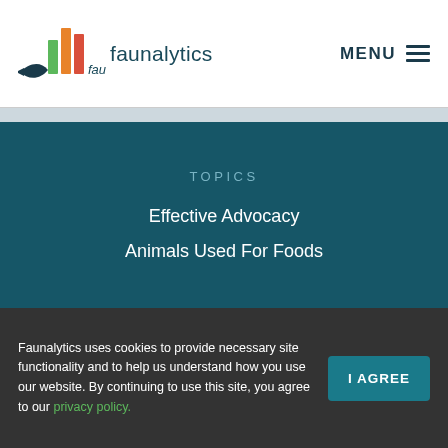[Figure (logo): Faunalytics logo with colorful bar chart icon and fish silhouette, followed by the text 'faunalytics']
MENU
TOPICS
Effective Advocacy
Animals Used For Foods
Faunalytics uses cookies to provide necessary site functionality and to help us understand how you use our website. By continuing to use this site, you agree to our privacy policy.